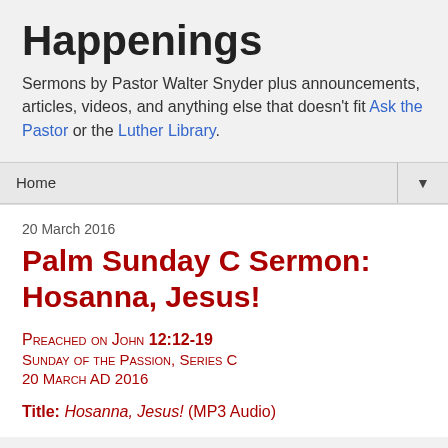Happenings
Sermons by Pastor Walter Snyder plus announcements, articles, videos, and anything else that doesn't fit Ask the Pastor or the Luther Library.
Home ▼
20 March 2016
Palm Sunday C Sermon: Hosanna, Jesus!
Preached on John 12:12-19
Sunday of the Passion, Series C
20 March AD 2016
Title: Hosanna, Jesus! (MP3 Audio)